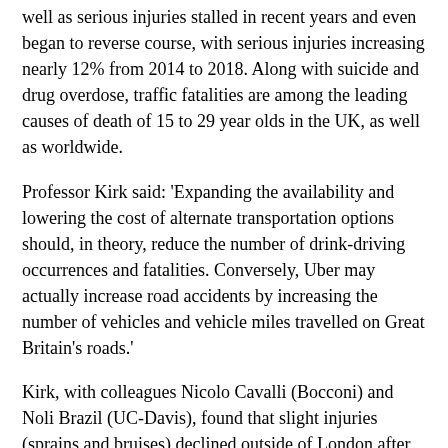well as serious injuries stalled in recent years and even began to reverse course, with serious injuries increasing nearly 12% from 2014 to 2018. Along with suicide and drug overdose, traffic fatalities are among the leading causes of death of 15 to 29 year olds in the UK, as well as worldwide.
Professor Kirk said: 'Expanding the availability and lowering the cost of alternate transportation options should, in theory, reduce the number of drink-driving occurrences and fatalities. Conversely, Uber may actually increase road accidents by increasing the number of vehicles and vehicle miles travelled on Great Britain's roads.'
Kirk, with colleagues Nicolo Cavalli (Bocconi) and Noli Brazil (UC-Davis), found that slight injuries (sprains and bruises) declined outside of London after the rollout of Uber, but increased within London. No statistically significant association between Uber and traffic fatalities was observed.